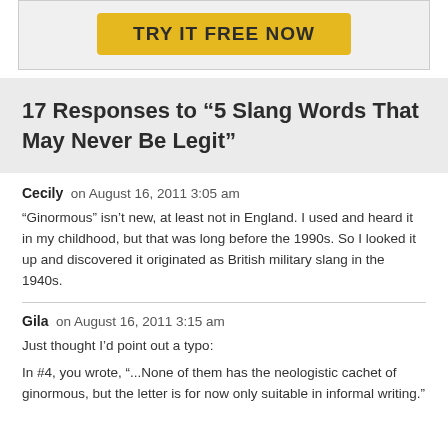[Figure (other): Yellow 'TRY IT FREE NOW' button inside a light gray bordered box]
17 Responses to “5 Slang Words That May Never Be Legit”
Cecily on August 16, 2011 3:05 am
“Ginormous” isn’t new, at least not in England. I used and heard it in my childhood, but that was long before the 1990s. So I looked it up and discovered it originated as British military slang in the 1940s.
Gila on August 16, 2011 3:15 am
Just thought I’d point out a typo:
In #4, you wrote, “...None of them has the neologistic cachet of ginormous, but the letter is for now only suitable in informal writing.”